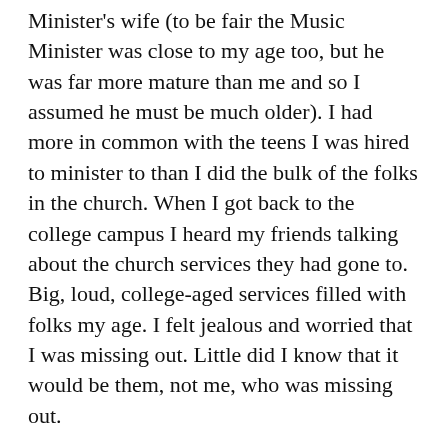Minister's wife (to be fair the Music Minister was close to my age too, but he was far more mature than me and so I assumed he must be much older).  I had more in common with the teens I was hired to minister to than I did the bulk of the folks in the church.  When I got back to the college campus I heard my friends talking about the church services they had gone to.  Big, loud, college-aged services filled with folks my age.  I felt jealous and worried that I was missing out.  Little did I know that it would be them, not me, who was missing out.

What unfolded over the next five years forever shaped and molded my life.  While there were not many young adults, the church did have what my church had growing up: loving, relational older adults willing to invite me into their hearts and lives.  I had men who taught me how to do carpentry, work on my truck, catch a fish, be a husband and a father, and serve the church.  I had women who mothered me through college, encouraged me, taught me how to make pot roast, fattened me up with homemade pies, kept